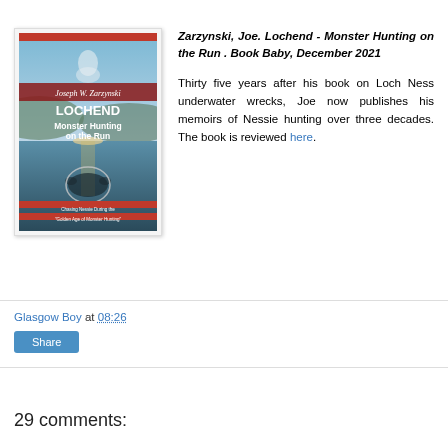[Figure (illustration): Book cover of 'Lochend Monster Hunting on the Run' by Joseph W. Zarzynski, showing Loch Ness with a silhouette of a monster and a ghostly figure above]
Zarzynski, Joe. Lochend - Monster Hunting on the Run . Book Baby, December 2021

Thirty five years after his book on Loch Ness underwater wrecks, Joe now publishes his memoirs of Nessie hunting over three decades. The book is reviewed here.
Glasgow Boy at 08:26
Share
29 comments: